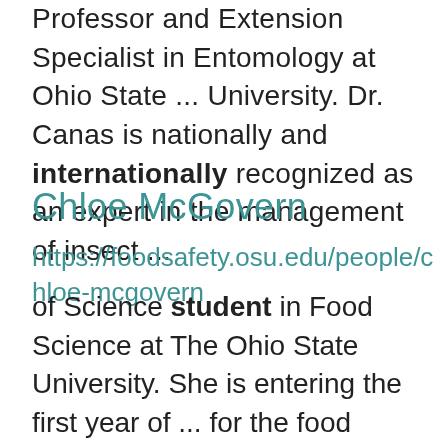Professor and Extension Specialist in Entomology at Ohio State ... University. Dr. Canas is nationally and internationally recognized as an expert in the management of insect ...
Chloe McGovern
https://foodsafety.osu.edu/people/chloe-mcgovern of Science student in Food Science at The Ohio State University. She is entering the first year of ... for the food safety and microbiology lab and sensory research team.  As a graduate research associate ... https://www.linkedin.com/in/chloe-mcgovern-0240a5199/  BS  Food